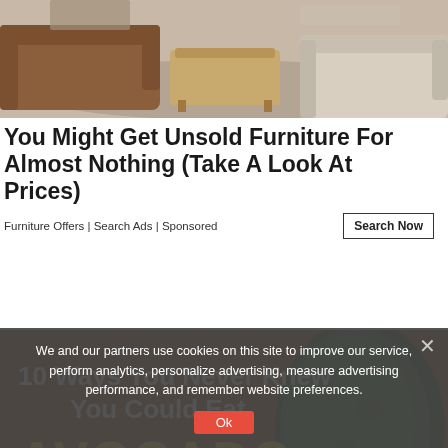[Figure (photo): Photo of a furniture showroom with leather sofas, an armchair, and a wooden coffee table on a rug]
You Might Get Unsold Furniture For Almost Nothing (Take A Look At Prices)
Furniture Offers | Search Ads | Sponsored
[Figure (photo): Advertisement banner showing avocados with text '10 Ways You Never Knew You Could Eat AVOCADO']
We and our partners use cookies on this site to improve our service, perform analytics, personalize advertising, measure advertising performance, and remember website preferences.